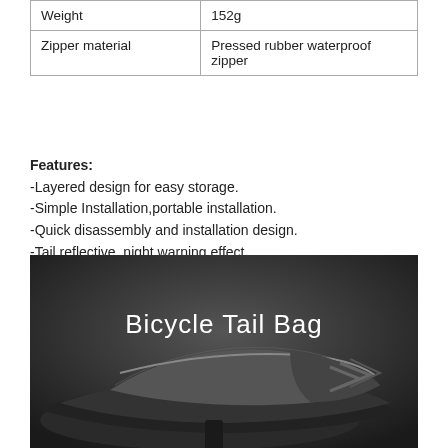| Weight | 152g |
| Zipper material | Pressed rubber waterproof zipper |
Features:
-Layered design for easy storage.
-Simple Installation,portable installation.
-Quick disassembly and installation design.
-Tail reflective, night warning effect.
Package Included:
1 x Bicycle Rear Seat Bag
[Figure (photo): Photo of a bicycle tail bag on a bike seat with text 'Bicycle Tail Bag' overlaid in white]